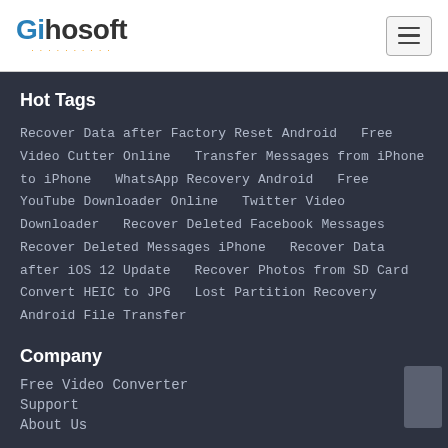Gihosoft
Hot Tags
Recover Data after Factory Reset Android   Free Video Cutter Online   Transfer Messages from iPhone to iPhone   WhatsApp Recovery Android   Free YouTube Downloader Online   Twitter Video Downloader   Recover Deleted Facebook Messages   Recover Deleted Messages iPhone   Recover Data after iOS 12 Update   Recover Photos from SD Card   Convert HEIC to JPG   Lost Partition Recovery   Android File Transfer
Company
Free Video Converter
Support
About Us